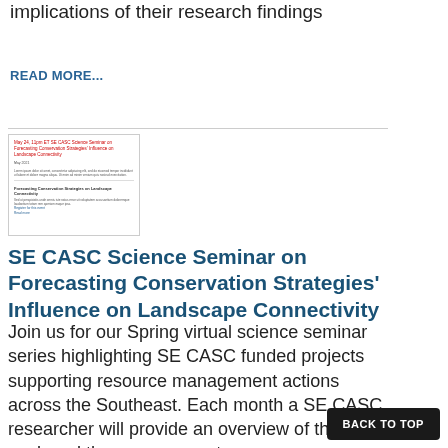implications of their research findings
READ MORE...
[Figure (screenshot): Thumbnail image of a document titled 'SE CASC Science Seminar on Forecasting Conservation Strategies Influence on Landscape Connectivity' with red header text and body text.]
SE CASC Science Seminar on Forecasting Conservation Strategies' Influence on Landscape Connectivity
Join us for our Spring virtual science seminar series highlighting SE CASC funded projects supporting resource management actions across the Southeast. Each month a SE CASC researcher will provide an overview of their work and the management
BACK TO TOP